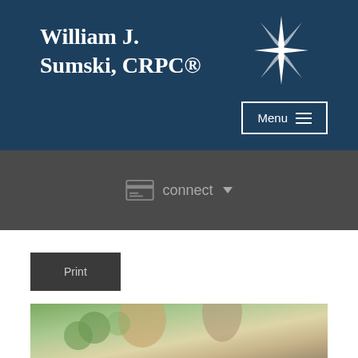William J. Sumski, CRPC®
Menu
connect
Print
[Figure (photo): Two people sitting together, likely a financial advisor meeting with a client, outdoors or near a window with greenery visible]